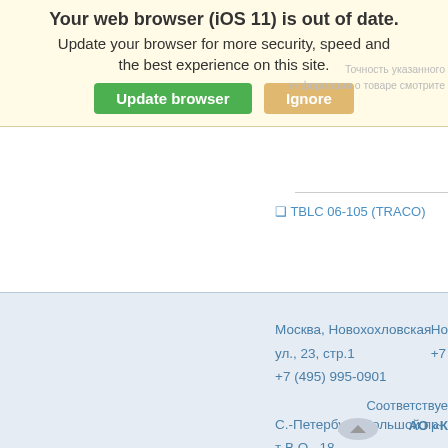[Figure (screenshot): Browser out-of-date warning banner with yellow background, bold text saying 'Your web browser (iOS 11) is out of date. Update your browser for more security, speed and the best experience on this site.' and two buttons: green 'Update browser' and tan 'Ignore']
Точность указанного
информации о товаре смотрите
❑ TBLC 06-105 (TRACO)
Москва, Новохохловская ул., 23, стр.1
+7 (495) 995-0901
Но
+7
С.-Петербург, Большой пр-т В.О., 18
+7 (812) 327-9404
Соответствуе
АО «К